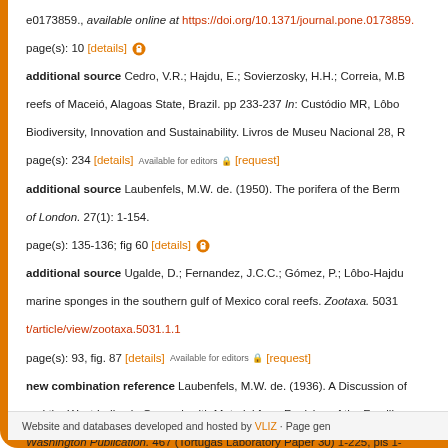e0173859., available online at https://doi.org/10.1371/journal.pone.0173859. page(s): 10 [details] [open access]
additional source Cedro, V.R.; Hajdu, E.; Sovierzosky, H.H.; Correia, M.B... reefs of Maceió, Alagoas State, Brazil. pp 233-237 In: Custódio MR, Lôbo... Biodiversity, Innovation and Sustainability. Livros de Museu Nacional 28, R... page(s): 234 [details] Available for editors [request]
additional source Laubenfels, M.W. de. (1950). The porifera of the Berm... of London. 27(1): 1-154. page(s): 135-136; fig 60 [details] [open access]
additional source Ugalde, D.; Fernandez, J.C.C.; Gómez, P.; Lôbo-Hajdu... marine sponges in the southern gulf of Mexico coral reefs. Zootaxa. 5031... t/article/view/zootaxa.5031.1.1 page(s): 93, fig. 87 [details] Available for editors [request]
new combination reference Laubenfels, M.W. de. (1936). A Discussion of... and the West Indies in General, with Material for a Revision of the Familie... Washington Publication. 467 (Tortugas Laboratory Paper 30) 1-225, pls 1-... page(s): 183-184; pl 20 fig 1 [details] Available for editors [request]
Website and databases developed and hosted by VLIZ · Page gen...